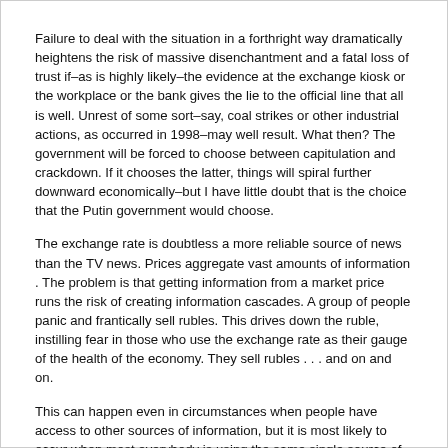Failure to deal with the situation in a forthright way dramatically heightens the risk of massive disenchantment and a fatal loss of trust if–as is highly likely–the evidence at the exchange kiosk or the workplace or the bank gives the lie to the official line that all is well. Unrest of some sort–say, coal strikes or other industrial actions, as occurred in 1998–may well result. What then? The government will be forced to choose between capitulation and crackdown. If it chooses the latter, things will spiral further downward economically–but I have little doubt that is the choice that the Putin government would choose.
The exchange rate is doubtless a more reliable source of news than the TV news. Prices aggregate vast amounts of information . The problem is that getting information from a market price runs the risk of creating information cascades. A group of people panic and frantically sell rubles. This drives down the ruble, instilling fear in those who use the exchange rate as their gauge of the health of the economy. They sell rubles . . . and on and on.
This can happen even in circumstances when people have access to other sources of information, but it is most likely to occur when most everybody is using the same single source of information, and that source of information responds to the behavior of the people watching it. Then self-fulfilling, positive feedback, information cascades are relatively easy to start and very hard to stop. This is a danger of depriving people of multiple sources of information and news.